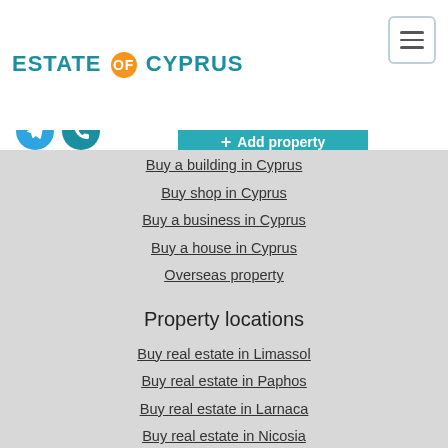[Figure (logo): Estate of Cyprus logo with teal text and orange circle for OF]
[Figure (infographic): Hamburger menu icon in bordered box]
[Figure (infographic): WhatsApp, Viber, Telegram, Phone icons]
Enquiry
+ Add property
RU
Buy a building in Cyprus
Buy shop in Cyprus
Buy a business in Cyprus
Buy a house in Cyprus
Overseas property
Property locations
Buy real estate in Limassol
Buy real estate in Paphos
Buy real estate in Larnaca
Buy real estate in Nicosia
Buy real estate in Ayia Napa
Buy real estate in Protaras
Buy real estate in Troodos
Buy real estate in Pissuri
Buy real estate in Polis